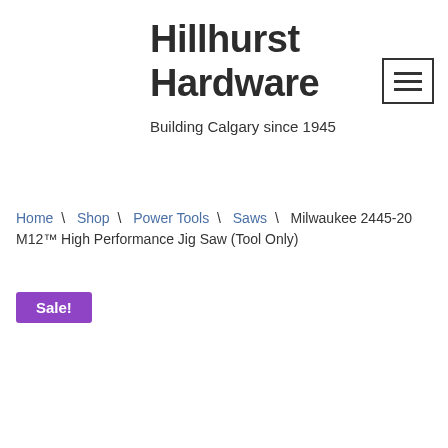Hillhurst Hardware
Building Calgary since 1945
Home \ Shop \ Power Tools \ Saws \ Milwaukee 2445-20 M12™ High Performance Jig Saw (Tool Only)
Sale!